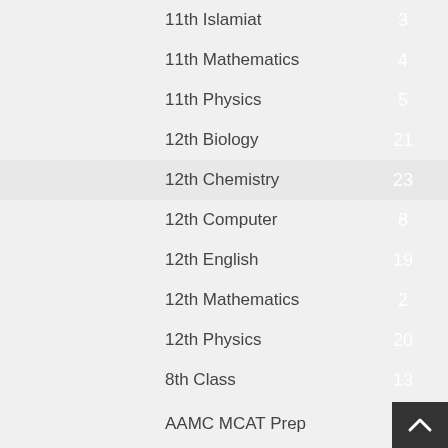11th Islamiat
11th Mathematics
11th Physics
12th Biology
12th Chemistry
12th Computer
12th English
12th Mathematics
12th Physics
8th Class
AAMC MCAT Prep